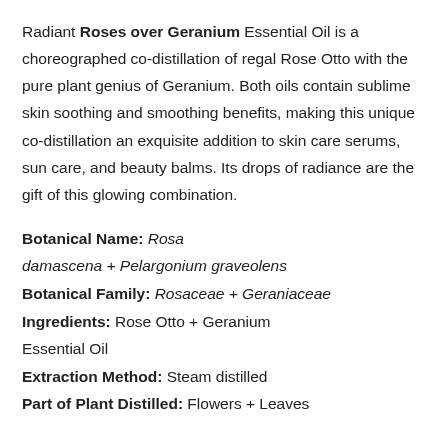Radiant Roses over Geranium Essential Oil is a choreographed co-distillation of regal Rose Otto with the pure plant genius of Geranium. Both oils contain sublime skin soothing and smoothing benefits, making this unique co-distillation an exquisite addition to skin care serums, sun care, and beauty balms. Its drops of radiance are the gift of this glowing combination.
Botanical Name: Rosa damascena + Pelargonium graveolens
Botanical Family: Rosaceae + Geraniaceae
Ingredients: Rose Otto + Geranium Essential Oil
Extraction Method: Steam distilled
Part of Plant Distilled: Flowers + Leaves